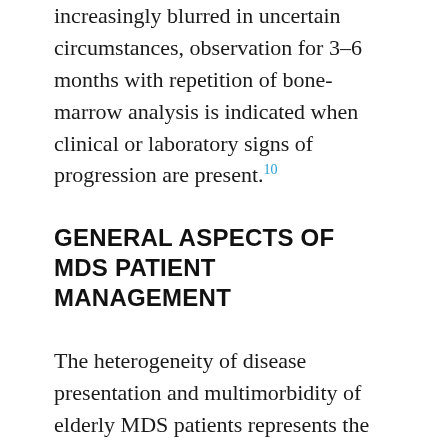increasingly blurred in uncertain circumstances, observation for 3–6 months with repetition of bone-marrow analysis is indicated when clinical or laboratory signs of progression are present.10
GENERAL ASPECTS OF MDS PATIENT MANAGEMENT
The heterogeneity of disease presentation and multimorbidity of elderly MDS patients represents the major challenges to the disease management. The course of the disease varies from chronic asymptomatic or minimal symptomatic cytopenia to rapid progression towards secondary AML. One-third of MDS patients succumb to leukemia,